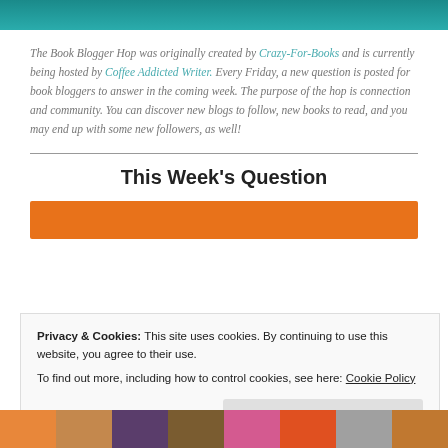[Figure (photo): Teal/green banner image at the top of the page]
The Book Blogger Hop was originally created by Crazy-For-Books and is currently being hosted by Coffee Addicted Writer. Every Friday, a new question is posted for book bloggers to answer in the coming week. The purpose of the hop is connection and community. You can discover new blogs to follow, new books to read, and you may end up with some new followers, as well!
This Week's Question
[Figure (other): Orange rectangular bar beneath the week's question heading]
Privacy & Cookies: This site uses cookies. By continuing to use this website, you agree to their use.
To find out more, including how to control cookies, see here: Cookie Policy
[Figure (photo): Bottom strip of small thumbnail photos]